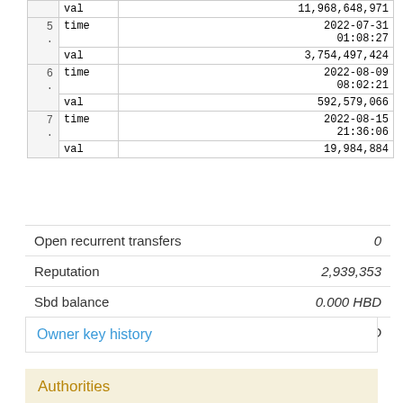| # | key | value |
| --- | --- | --- |
|  | val | 11,968,648,971 |
| 5 . | time | 2022-07-31 01:08:27 |
|  | val | 3,754,497,424 |
| 6 . | time | 2022-08-09 08:02:21 |
|  | val | 592,579,066 |
| 7 . | time | 2022-08-15 21:36:06 |
|  | val | 19,984,884 |
Open recurrent transfers	0
Reputation	2,939,353
Sbd balance	0.000 HBD
Savings sbd balance	294.627 HBD
Owner key history
Authorities